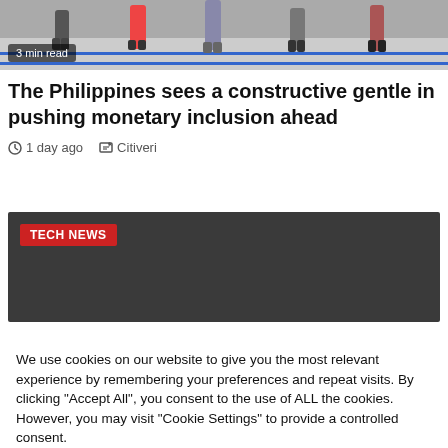[Figure (photo): Photograph of people standing in line, seen from waist/legs down, on a tiled floor with blue tape markers]
3 min read
The Philippines sees a constructive gentle in pushing monetary inclusion ahead
1 day ago   Citiveri
[Figure (other): Dark gray card with red TECH NEWS badge]
We use cookies on our website to give you the most relevant experience by remembering your preferences and repeat visits. By clicking "Accept All", you consent to the use of ALL the cookies. However, you may visit "Cookie Settings" to provide a controlled consent.